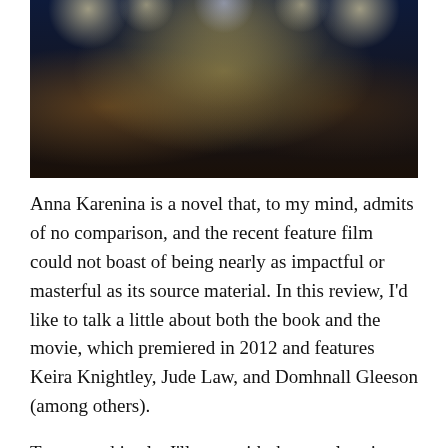[Figure (photo): A grand ballroom scene from a period film with figures in formal attire, chandeliers, and ornate blue and gold decorations in the background. A woman in a blue gown stands center.]
Anna Karenina is a novel that, to my mind, admits of no comparison, and the recent feature film could not boast of being nearly as impactful or masterful as its source material. In this review, I'd like to talk a little about both the book and the movie, which premiered in 2012 and features Keira Knightley, Jude Law, and Domhnall Gleeson (among others).
To proceed justly, I'll start with the novel, written by Tolstoy and published in 1877. In my previous review of War and Peace, I reflected on the tendency of literary masterpieces to appear intimidating and even unapproachable when viewed from a distance. And yet